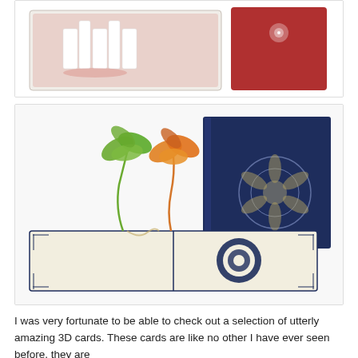[Figure (photo): A red and white 3D popup card with 'MOM' text in white letters, and a red card with floral design on the right side, shown open on a white background.]
[Figure (photo): An open 3D popup card featuring two paper-cut flowers (green and orange/red) and a decorative mandala cut-out design on the inside. A closed navy blue card with a circular mandala cover design is shown behind it.]
I was very fortunate to be able to check out a selection of utterly amazing 3D cards. These cards are like no other I have ever seen before, they are